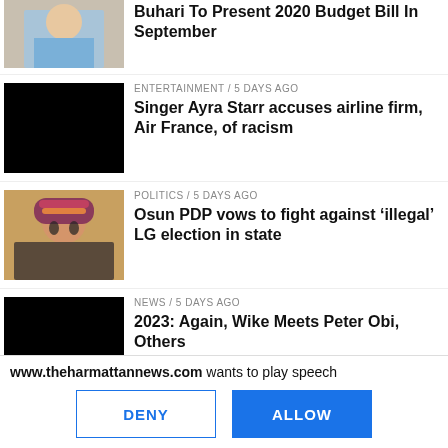[Figure (photo): Partial news thumbnail at top (person in blue outfit)]
Buhari To Present 2020 Budget Bill In September
[Figure (photo): Black thumbnail image for entertainment story]
ENTERTAINMENT / 5 days ago
Singer Ayra Starr accuses airline firm, Air France, of racism
[Figure (photo): Photo of man wearing colorful hat and glasses]
POLITICS / 5 days ago
Osun PDP vows to fight against ‘illegal’ LG election in state
[Figure (photo): Black thumbnail image for news story]
NEWS / 5 days ago
2023: Again, Wike Meets Peter Obi, Others
www.theharmattannews.com wants to play speech
DENY   ALLOW